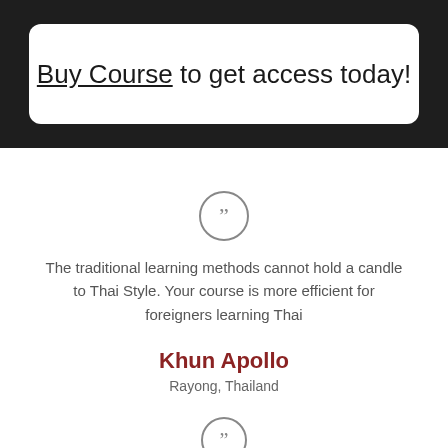Buy Course to get access today!
[Figure (illustration): Closing quotation mark icon inside a circle]
The traditional learning methods cannot hold a candle to Thai Style. Your course is more efficient for foreigners learning Thai
Khun Apollo
Rayong, Thailand
[Figure (illustration): Closing quotation mark icon inside a circle (partial, at bottom)]